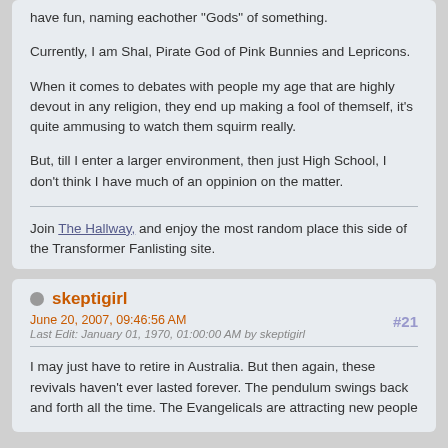have fun, naming eachother "Gods" of something.
Currently, I am Shal, Pirate God of Pink Bunnies and Lepricons.
When it comes to debates with people my age that are highly devout in any religion, they end up making a fool of themself, it's quite ammusing to watch them squirm really.
But, till I enter a larger environment, then just High School, I don't think I have much of an oppinion on the matter.
Join The Hallway, and enjoy the most random place this side of the Transformer Fanlisting site.
skeptigirl
June 20, 2007, 09:46:56 AM
Last Edit: January 01, 1970, 01:00:00 AM by skeptigirl
#21
I may just have to retire in Australia. But then again, these revivals haven't ever lasted forever. The pendulum swings back and forth all the time. The Evangelicals are attracting new people